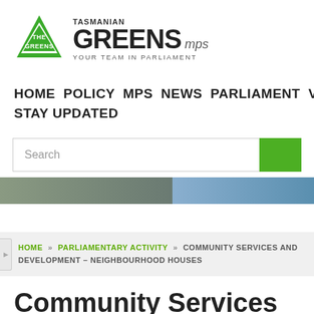[Figure (logo): Tasmanian Greens MPs logo — green triangle with 'THE GREENS' text inside, beside bold 'GREENS mps' wordmark and tagline 'YOUR TEAM IN PARLIAMENT']
HOME  POLICY  MPS  NEWS  PARLIAMENT  VOTES  STAY UPDATED
Search
[Figure (photo): Banner image strip showing partial outdoor/parliament scene photos]
HOME » PARLIAMENTARY ACTIVITY » COMMUNITY SERVICES AND DEVELOPMENT – NEIGHBOURHOOD HOUSES
Community Services and